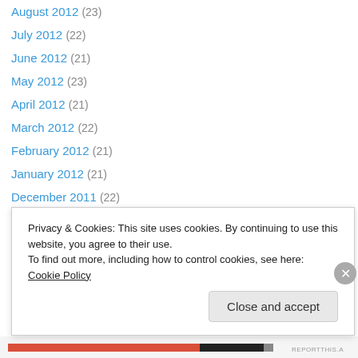August 2012 (23)
July 2012 (22)
June 2012 (21)
May 2012 (23)
April 2012 (21)
March 2012 (22)
February 2012 (21)
January 2012 (21)
December 2011 (22)
November 2011 (22)
October 2011 (21)
September 2011 (22)
August 2011 (23)
July 2011 (21)
Privacy & Cookies: This site uses cookies. By continuing to use this website, you agree to their use. To find out more, including how to control cookies, see here: Cookie Policy